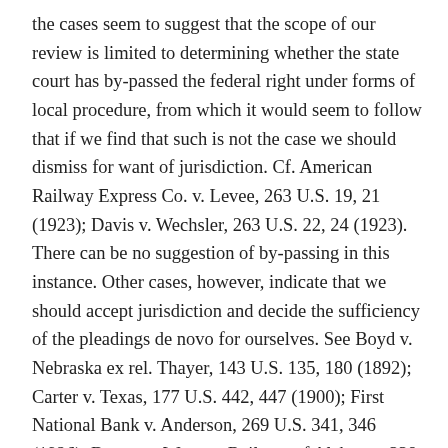the cases seem to suggest that the scope of our review is limited to determining whether the state court has by-passed the federal right under forms of local procedure, from which it would seem to follow that if we find that such is not the case we should dismiss for want of jurisdiction. Cf. American Railway Express Co. v. Levee, 263 U.S. 19, 21 (1923); Davis v. Wechsler, 263 U.S. 22, 24 (1923). There can be no suggestion of by-passing in this instance. Other cases, however, indicate that we should accept jurisdiction and decide the sufficiency of the pleadings de novo for ourselves. See Boyd v. Nebraska ex rel. Thayer, 143 U.S. 135, 180 (1892); Carter v. Texas, 177 U.S. 442, 447 (1900); First National Bank v. Anderson, 269 U.S. 341, 346 (1926); Brown v. Western Railway of Alabama, 338 U.S. 294, 296 (1949). In the present case, the route which we travel would make [349 U.S. 458, 464]   no difference in the result. Even if we were to look at the matter ourselves de novo, we could not on this vague and empty record decide the constitutional issues